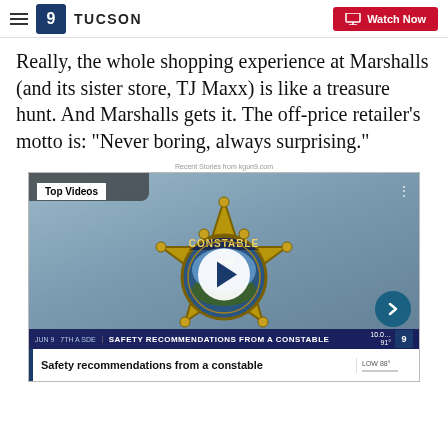KSAZ 9 TUCSON | Watch Now
Really, the whole shopping experience at Marshalls (and its sister store, TJ Maxx) is like a treasure hunt. And Marshalls gets it. The off-price retailer's motto is: "Never boring, always surprising."
Recent Stories from kgun9.com
[Figure (screenshot): Video thumbnail showing a Constable badge with play button overlay. Lower bar reads 'SAFETY RECOMMENDATIONS FROM A CONSTABLE'. Headline below: 'Safety recommendations from a constable'. Top Videos label in top left corner.]
Safety recommendations from a constable